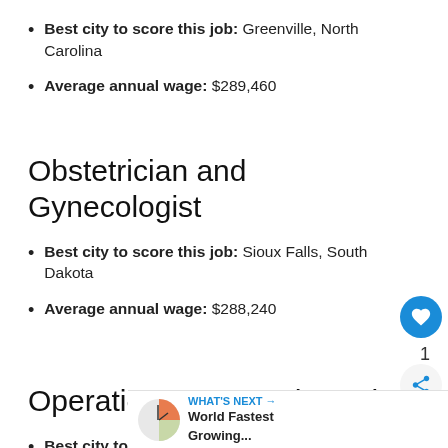Best city to score this job: Greenville, North Carolina
Average annual wage: $289,460
Obstetrician and Gynecologist
Best city to score this job: Sioux Falls, South Dakota
Average annual wage: $288,240
Operations Research Analyst
Best city to score this job: Boulder, Colorado
Average annual wage: $116,690